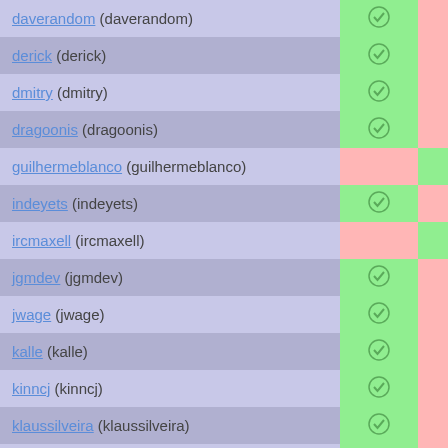| Username | Col2 | Col3 |
| --- | --- | --- |
| daverandom (daverandom) | ✓ |  |
| derick (derick) | ✓ |  |
| dmitry (dmitry) | ✓ |  |
| dragoonis (dragoonis) | ✓ |  |
| guilhermeblanco (guilhermeblanco) |  | ✓ |
| indeyets (indeyets) | ✓ |  |
| ircmaxell (ircmaxell) |  | ✓ |
| jgmdev (jgmdev) | ✓ |  |
| jwage (jwage) | ✓ |  |
| kalle (kalle) | ✓ |  |
| kinncj (kinncj) | ✓ |  |
| klaussilveira (klaussilveira) | ✓ |  |
| krakjoe (krakjoe) | ✓ |  |
| ... |  |  |